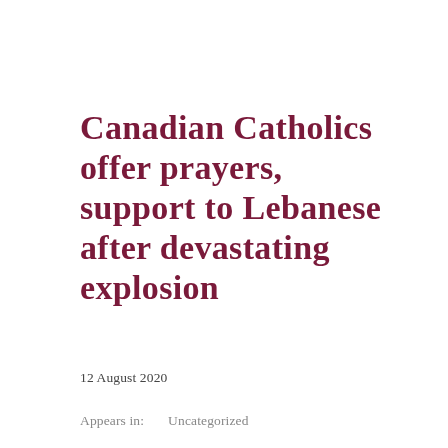Canadian Catholics offer prayers, support to Lebanese after devastating explosion
12 August 2020
Appears in:    Uncategorized